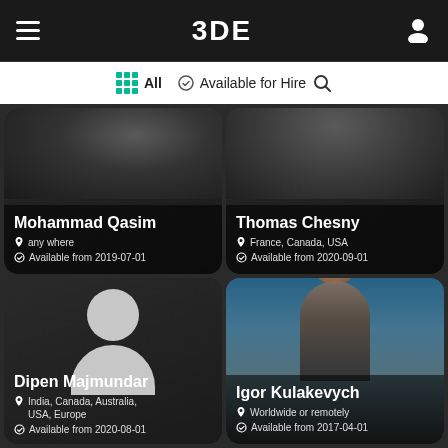3DE
All  Available for Hire
Mohammad Qasim
any where
Available from 2019-07-01
Thomas Chesny
France, Canada, USA
Available from 2020-09-01
Dipen Majmundar
India, Canada, Australia, USA, Europe
Available from 2020-08-01
Igor Kulakevych
Worldwide or remotely
Available from 2017-04-01